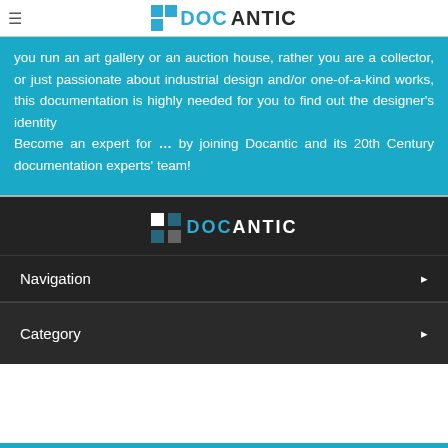DOCANTIC
you run an art gallery or an auction house, rather you are a collector, or just passionate about industrial design and/or one-of-a-kind works, this documentation is highly needed for you to find out the designer's identity Become an expert for ... by joining Docantic and its 20th Century documentation experts' team!
[Figure (logo): Docantic logo with blue icon squares and stylized text on dark background]
Navigation
Category